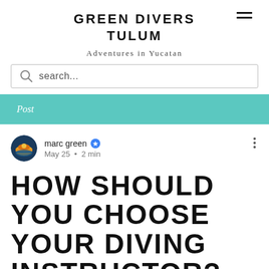GREEN DIVERS TULUM
Adventures in Yucatan
search...
Post
marc green · May 25 · 2 min
HOW SHOULD YOU CHOOSE YOUR DIVING INSTRUCTOR? ???